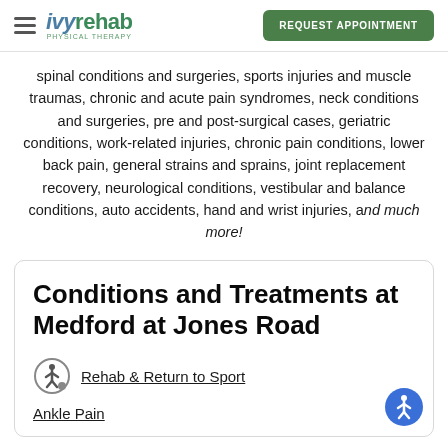Ivy Rehab Physical Therapy — REQUEST APPOINTMENT
spinal conditions and surgeries, sports injuries and muscle traumas, chronic and acute pain syndromes, neck conditions and surgeries, pre and post-surgical cases, geriatric conditions, work-related injuries, chronic pain conditions, lower back pain, general strains and sprains, joint replacement recovery, neurological conditions, vestibular and balance conditions, auto accidents, hand and wrist injuries, and much more!
Conditions and Treatments at Medford at Jones Road
Rehab & Return to Sport
Ankle Pain